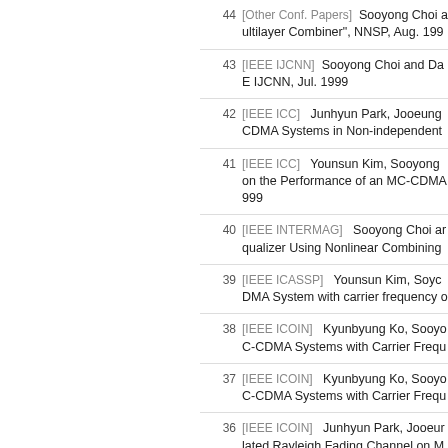44 [Other Conf. Papers] Sooyong Choi ... ultilayer Combiner", NNSP, Aug. 199...
43 [IEEE IJCNN] Sooyong Choi and Da... E IJCNN, Jul. 1999
42 [IEEE ICC] Junhyun Park, Jooeung... CDMA Systems in Non-independent...
41 [IEEE ICC] Younsun Kim, Sooyong... on the Performance of an MC-CDMA... 999
40 [IEEE INTERMAG] Sooyong Choi ar... qualizer Using Nonlinear Combining...
39 [IEEE ICASSP] Younsun Kim, Sooyo... DMA System with carrier frequency o...
38 [IEEE ICOIN] Kyunbyung Ko, Sooyo... C-CDMA Systems with Carrier Frequ...
37 [IEEE ICOIN] Kyunbyung Ko, Sooyo... C-CDMA Systems with Carrier Frequ...
36 [IEEE ICOIN] Junhyun Park, Jooeur... lated Rayleigh Fading Channel on M...
35 [IEEE GLOBECOM] Jaejin Lee, Soo... em in a Mobile Channel", IEEE GL...